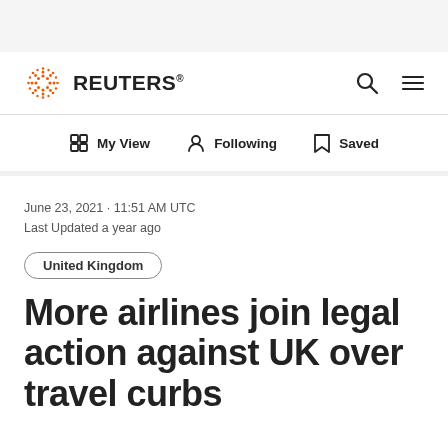REUTERS
My View  Following  Saved
June 23, 2021 · 11:51 AM UTC
Last Updated a year ago
United Kingdom
More airlines join legal action against UK over travel curbs